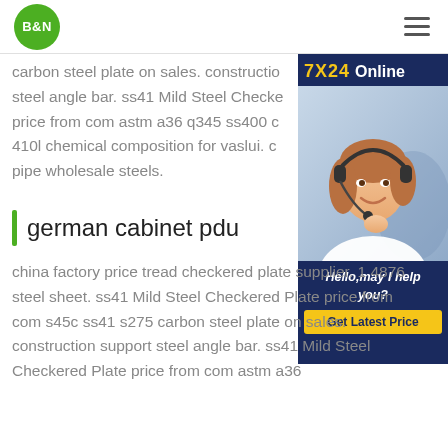B&N
carbon steel plate on sales. construction steel angle bar. ss41 Mild Steel Checkered plate price from com astm a36 q345 ss400 c 410l chemical composition for vaslui. c pipe wholesale steels.
[Figure (photo): Customer service representative wearing headset, smiling. Ad panel with '7X24 Online', 'Hello, may I help you?' and 'Get Latest Price' button on dark navy background.]
german cabinet pdu
china factory price tread checkered plate supplier. 1 4876 steel sheet. ss41 Mild Steel Checkered Plate price from com s45c ss41 s275 carbon steel plate on sales. construction support steel angle bar. ss41 Mild Steel Checkered Plate price from com astm a36